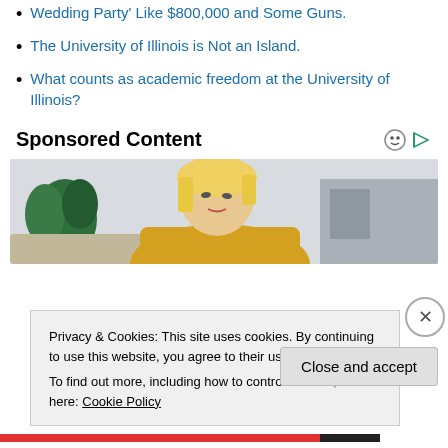Wedding Party' Like $800,000 and Some Guns.
The University of Illinois is Not an Island.
What counts as academic freedom at the University of Illinois?
Sponsored Content
[Figure (photo): Blonde woman in yellow knit sweater looking downward, with green plant and gray background]
Privacy & Cookies: This site uses cookies. By continuing to use this website, you agree to their use.
To find out more, including how to control cookies, see here: Cookie Policy
Close and accept